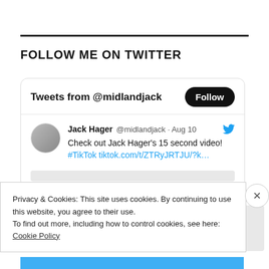FOLLOW ME ON TWITTER
[Figure (screenshot): Twitter widget showing 'Tweets from @midlandjack' with a Follow button, and a tweet by Jack Hager @midlandjack on Aug 10 saying 'Check out Jack Hager's 15 second video! #TikTok tiktok.com/t/ZTRyJRTJU/?k...' with a Twitter bird icon and profile picture.]
Privacy & Cookies: This site uses cookies. By continuing to use this website, you agree to their use.
To find out more, including how to control cookies, see here:
Cookie Policy
Close and accept